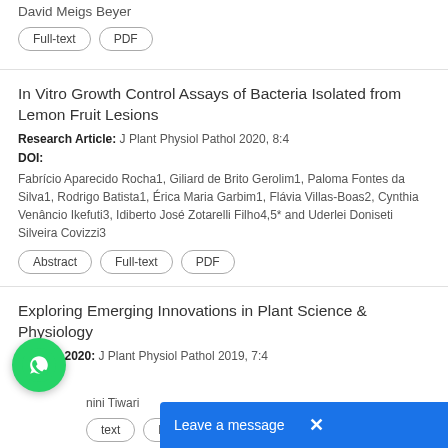David Meigs Beyer
Full-text | PDF
In Vitro Growth Control Assays of Bacteria Isolated from Lemon Fruit Lesions
Research Article: J Plant Physiol Pathol 2020, 8:4
DOI:
Fabrício Aparecido Rocha1, Giliard de Brito Gerolim1, Paloma Fontes da Silva1, Rodrigo Batista1, Érica Maria Garbim1, Flávia Villas-Boas2, Cynthia Venâncio Ikefuti3, Idiberto José Zotarelli Filho4,5* and Uderlei Doniseti Silveira Covizzi3
Abstract | Full-text | PDF
Exploring Emerging Innovations in Plant Science & Physiology
Awards 2020: J Plant Physiol Pathol 2019, 7:4
nini Tiwari
text | PDF